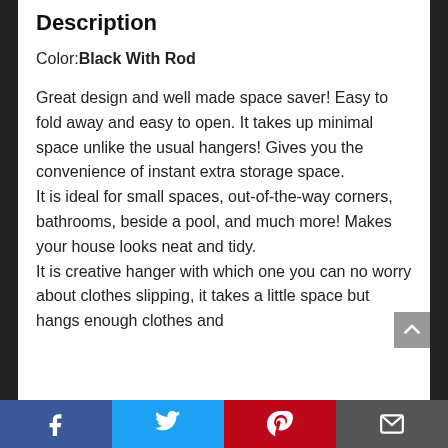Description
Color: Black With Rod
Great design and well made space saver! Easy to fold away and easy to open. It takes up minimal space unlike the usual hangers! Gives you the convenience of instant extra storage space.
It is ideal for small spaces, out-of-the-way corners, bathrooms, beside a pool, and much more! Makes your house looks neat and tidy.
It is creative hanger with which one you can no worry about clothes slipping, it takes a little space but hangs enough clothes and
Facebook | Twitter | Pinterest | Email